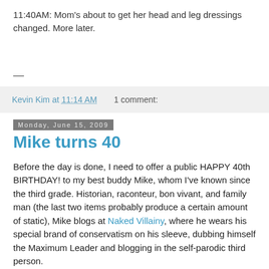11:40AM: Mom's about to get her head and leg dressings changed. More later.
—
Kevin Kim at 11:14 AM    1 comment:
Monday, June 15, 2009
Mike turns 40
Before the day is done, I need to offer a public HAPPY 40th BIRTHDAY! to my best buddy Mike, whom I've known since the third grade. Historian, raconteur, bon vivant, and family man (the last two items probably produce a certain amount of static), Mike blogs at Naked Villainy, where he wears his special brand of conservatism on his sleeve, dubbing himself the Maximum Leader and blogging in the self-parodic third person.